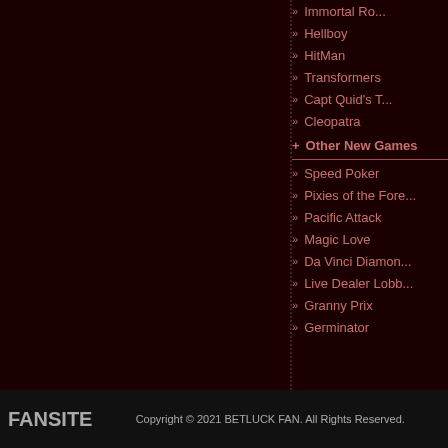Immortal Ro...
Hellboy
HitMan
Transformers
Capt Quid's T...
Cleopatra
+ Other New Games
Speed Poker
Pixies of the Fore...
Pacific Attack
Magic Love
Da Vinci Diamon...
Live Dealer Lobb...
Granny Prix
Germinator
FANSITE   Copyright © 2021 BETLUCK FAN. All Rights Reserved.